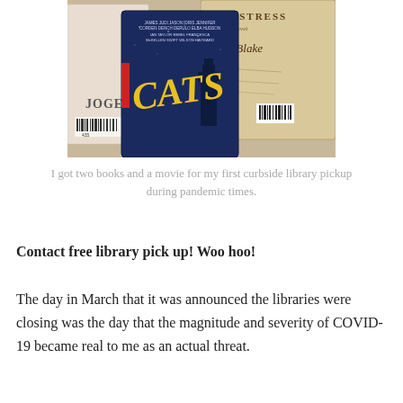[Figure (photo): Photo of library items on a wooden surface: a DVD case for the movie 'Cats' (featuring cast names including James Corden, Judi Dench, Jason Derulo, Idris Elba, Jennifer Hudson, Ian McKellen, Taylor Swift, Rebel Wilson, Francesca Hayward), a hardcover book with a library barcode sticker partially visible (spine shows 'JOGE'), and a book titled 'The Postmistress: A Novel' by Sarah Blake.]
I got two books and a movie for my first curbside library pickup during pandemic times.
Contact free library pick up! Woo hoo!
The day in March that it was announced the libraries were closing was the day that the magnitude and severity of COVID-19 became real to me as an actual threat.